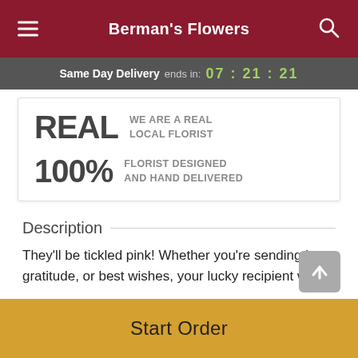Berman's Flowers
Same Day Delivery ends in: 07:21:21
REAL WE ARE A REAL LOCAL FLORIST
100% FLORIST DESIGNED AND HAND DELIVERED
Description
They'll be tickled pink! Whether you're sending love, gratitude, or best wishes, your lucky recipient will be
Start Order